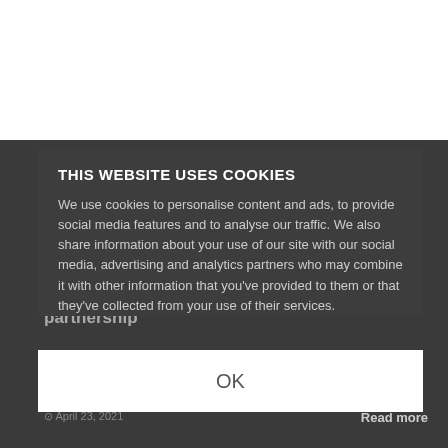News
Syno International & Tribes Research enter partnership
Source: Syno International
April 23, 2021
Read more
THIS WEBSITE USES COOKIES
We use cookies to personalise content and ads, to provide social media features and to analyse our traffic. We also share information about your use of our site with our social media, advertising and analytics partners who may combine it with other information that you've provided to them or that they've collected from your use of their services.
OK